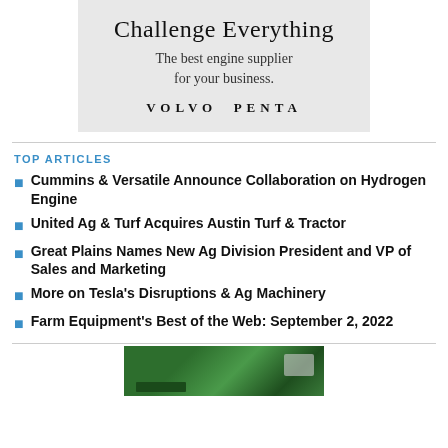[Figure (other): Volvo Penta advertisement banner with grey background. Title: 'Challenge Everything', subtitle: 'The best engine supplier for your business.', logo text: 'VOLVO PENTA']
TOP ARTICLES
Cummins & Versatile Announce Collaboration on Hydrogen Engine
United Ag & Turf Acquires Austin Turf & Tractor
Great Plains Names New Ag Division President and VP of Sales and Marketing
More on Tesla's Disruptions & Ag Machinery
Farm Equipment's Best of the Web: September 2, 2022
[Figure (photo): Partial photo visible at bottom of page showing green agricultural machinery/equipment]